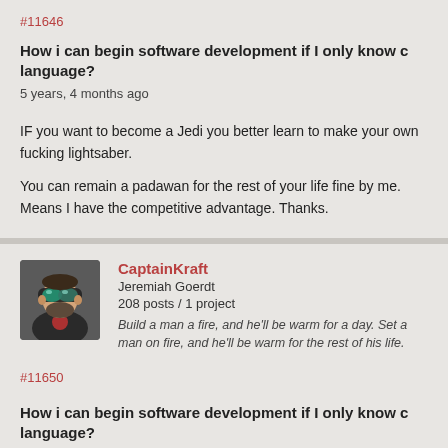#11646
How i can begin software development if I only know c language?
5 years, 4 months ago
IF you want to become a Jedi you better learn to make your own fucking lightsaber.
You can remain a padawan for the rest of your life fine by me. Means I have the competitive advantage. Thanks.
[Figure (photo): Avatar photo of a person wearing ski goggles]
CaptainKraft
Jeremiah Goerdt
208 posts / 1 project
Build a man a fire, and he'll be warm for a day. Set a man on fire, and he'll be warm for the rest of his life.
#11650
How i can begin software development if I only know c language?